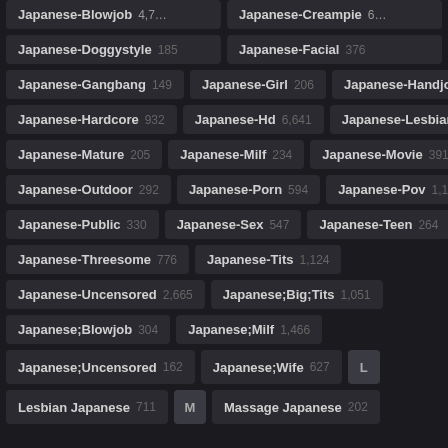Japanese-Blowjob (partial) | Japanese-Creampie (partial)
Japanese-Doggystyle 185 | Japanese-Facial 376
Japanese-Gangbang 149 | Japanese-Girl 206 | Japanese-Handjob 190
Japanese-Hardcore 932 | Japanese-Hd 6,641 | Japanese-Lesbian 295
Japanese-Mature 205 | Japanese-Milf 234 | Japanese-Movie 391
Japanese-Outdoor 292 | Japanese-Porn 594 | Japanese-Pov 1,180
Japanese-Public 330 | Japanese-Sex 547 | Japanese-Teen 264
Japanese-Threesome 776 | Japanese-Tits 1,124
Japanese-Uncensored 2,665 | Japanese;Big;Tits 1,051
Japanese;Blowjob 304 | Japanese;Milf 1,466
Japanese;Uncensored 162 | Japanese;Wife 627 | L
Lesbian Japanese 711 | M | Massage Japanese 202